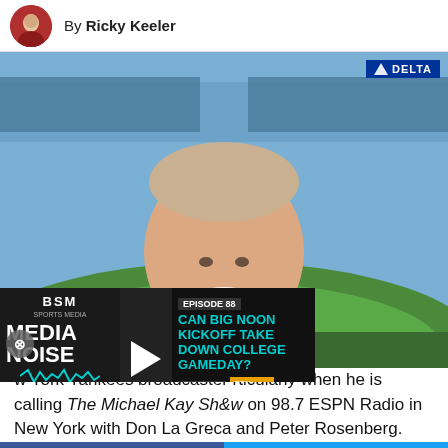By Ricky Keeler
[Figure (photo): Photo of a male sports broadcaster smiling at camera, wearing a blue patterned blazer and tie, with a baseball stadium (Yankee Stadium) in the background. A Delta logo is visible in the upper right. A podcast thumbnail overlay for 'Media Noise' episode 88 about Big Noon Kickoff vs College Gameday is visible in the lower left.]
w York Yankees broadcaster rticularly when he is calling The Michael Kay Show on 98.7 ESPN Radio in New York with Don La Greca and Peter Rosenberg.
SHARE   TWEET